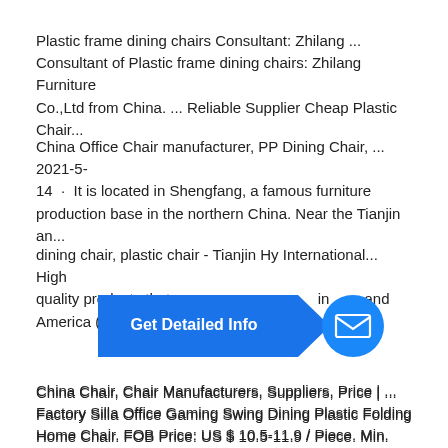Plastic frame dining chairs Consultant: Zhilang ... Consultant of Plastic frame dining chairs: Zhilang Furniture Co.,Ltd from China. ... Reliable Supplier Cheap Plastic Chair...
China Office Chair manufacturer, PP Dining Chair, ... 2021-5-14 · It is located in Shengfang, a famous furniture production base in the northern China. Near the Tianjin an...
dining chair, plastic chair - Tianjin Hy International... High quality products that a... in... e and America (both North a... ... ve p...
[Figure (screenshot): Blue 'Get Detailed Info' button with arrow shape and a blue circular mail icon button overlaid on the page content]
China Chair, Chair Manufacturers, Suppliers, Price | ... Factory Silla Office Gaming Swing Dining Plastic Folding Home Chair. FOB Price: US $ 10.5-11.9 / Piece. Min. Order: 44...
Bazhou Lichang Furniture Co., Ltd. - Plastic Chair, ... Bazhou Lichang Furniture Co., Ltd., Experts in Manufacturing and Exporting Plastic Chair, Dining Chair and 2444 more...